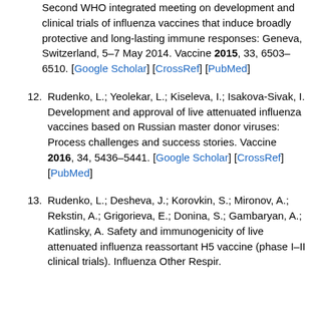Second WHO integrated meeting on development and clinical trials of influenza vaccines that induce broadly protective and long-lasting immune responses: Geneva, Switzerland, 5–7 May 2014. Vaccine 2015, 33, 6503–6510. [Google Scholar] [CrossRef] [PubMed]
12. Rudenko, L.; Yeolekar, L.; Kiseleva, I.; Isakova-Sivak, I. Development and approval of live attenuated influenza vaccines based on Russian master donor viruses: Process challenges and success stories. Vaccine 2016, 34, 5436–5441. [Google Scholar] [CrossRef] [PubMed]
13. Rudenko, L.; Desheva, J.; Korovkin, S.; Mironov, A.; Rekstin, A.; Grigorieva, E.; Donina, S.; Gambaryan, A.; Katlinsky, A. Safety and immunogenicity of live attenuated influenza reassortant H5 vaccine (phase I–II clinical trials). Influenza Other Respir.